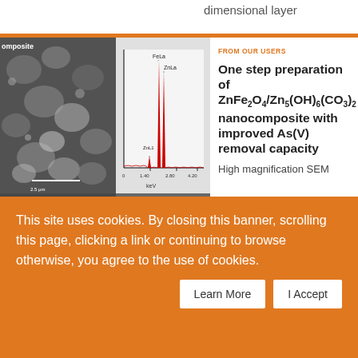dimensional layer
[Figure (photo): Four-panel SEM image grid: top-left shows high magnification SEM of nanocomposite particles; top-right shows EDS spectrum with FeLa, ZnLa, ZnL1 peaks; bottom-left shows Zn5(OH)6(CO3)2 particles; bottom-right shows ZnFe2O4 particles. Image label 'omposite' visible top-left. Scale bar '2.5 μm' visible.]
FROM OUR USERS
One step preparation of ZnFe2O4/Zn5(OH)6(CO3)2 nanocomposite with improved As(V) removal capacity
High magnification SEM
This site uses cookies. By closing this banner, scrolling this page, clicking a link or continuing to browse otherwise, you agree to the use of cookies.
Learn More
I Accept